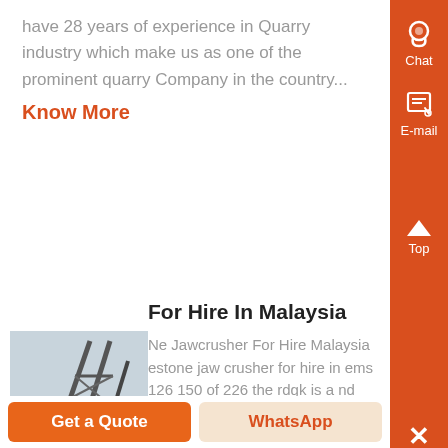have 28 years of experience in Quarry industry which make us as one of the prominent quarry Company in the country...
Know More
For Hire In Malaysia
[Figure (photo): Industrial steel conveyor/crusher structure outdoors]
Ne Jawcrusher For Hire Malaysia estone jaw crusher for hire in ems 126 150 of 226 the rdgk is a nd portable hard rock crusher plant built for results 1 20 of 845 mobile limestone jaw crusher for hire in portable iron ore crusher for hire in malaysia used
Get a Quote | WhatsApp